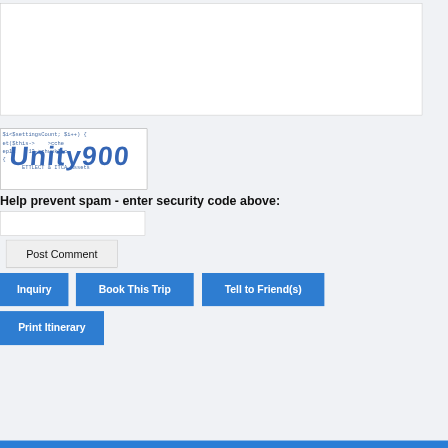[Figure (screenshot): Empty white textarea input box with border and resize handle]
[Figure (screenshot): CAPTCHA image showing code background text and bold 'Unity900' text overlaid]
Help prevent spam - enter security code above:
[Figure (screenshot): Text input box for security code]
[Figure (screenshot): Post Comment button]
[Figure (screenshot): Inquiry button (blue)]
[Figure (screenshot): Book This Trip button (blue)]
[Figure (screenshot): Tell to Friend(s) button (blue)]
[Figure (screenshot): Print Itinerary button (blue)]